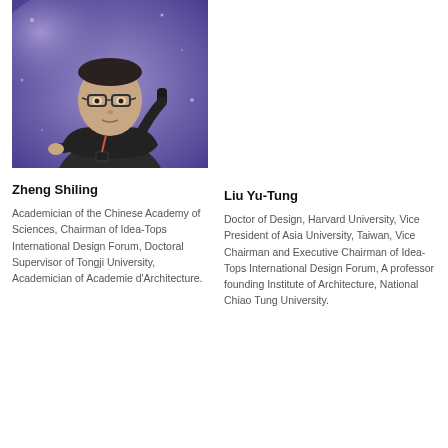[Figure (photo): Photo of Zheng Shiling, a man wearing glasses and a dark suit, holding a microphone, speaking at an event with a purple/blue blurred background.]
Zheng Shiling
Academician of the Chinese Academy of Sciences, Chairman of Idea-Tops International Design Forum, Doctoral Supervisor of Tongji University, Academician of Academie d'Architecture.
Liu Yu-Tung
Doctor of Design, Harvard University, Vice President of Asia University, Taiwan, Vice Chairman and Executive Chairman of Idea-Tops International Design Forum, A professor founding Institute of Architecture, National Chiao Tung University.